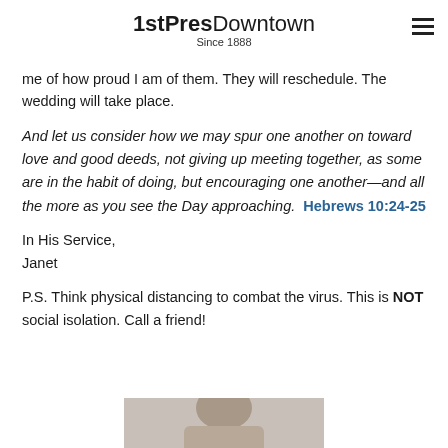1stPresDowntown Since 1888
me of how proud I am of them. They will reschedule. The wedding will take place.
And let us consider how we may spur one another on toward love and good deeds, not giving up meeting together, as some are in the habit of doing, but encouraging one another—and all the more as you see the Day approaching.  Hebrews 10:24-25
In His Service,
Janet
P.S. Think physical distancing to combat the virus. This is NOT social isolation. Call a friend!
[Figure (photo): Partial photo of a person, cropped at bottom of page]